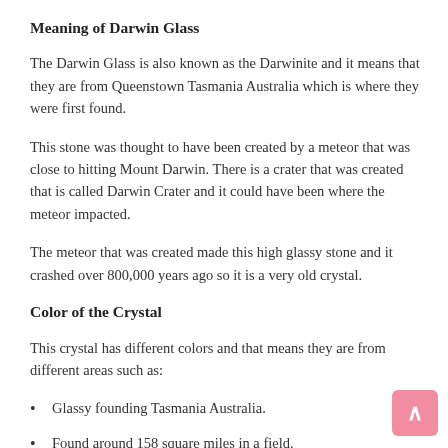Meaning of Darwin Glass
The Darwin Glass is also known as the Darwinite and it means that they are from Queenstown Tasmania Australia which is where they were first found.
This stone was thought to have been created by a meteor that was close to hitting Mount Darwin. There is a crater that was created that is called Darwin Crater and it could have been where the meteor impacted.
The meteor that was created made this high glassy stone and it crashed over 800,000 years ago so it is a very old crystal.
Color of the Crystal
This crystal has different colors and that means they are from different areas such as:
Glassy founding Tasmania Australia.
Found around 158 square miles in a field.